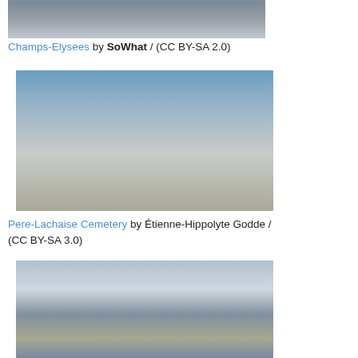[Figure (photo): Champs-Elysees aerial/street view photo (partially visible at top)]
Champs-Elysees by SoWhat / (CC BY-SA 2.0)
[Figure (photo): Pere-Lachaise Cemetery entrance gate with sculpted figures]
Pere-Lachaise Cemetery by Étienne-Hippolyte Godde / (CC BY-SA 3.0)
[Figure (photo): Sainte-Chapelle gothic chapel exterior with spire]
Sainte-Chapelle by Zairon / (CC BY-SA 4.0)
[Figure (photo): Interior of a Bateaux-Mouches style river cruise dining boat at night]